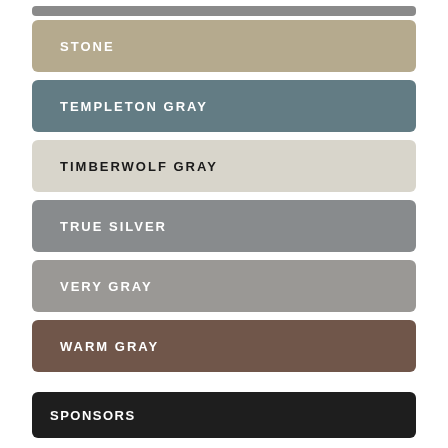STONE
TEMPLETON GRAY
TIMBERWOLF GRAY
TRUE SILVER
VERY GRAY
WARM GRAY
SPONSORS